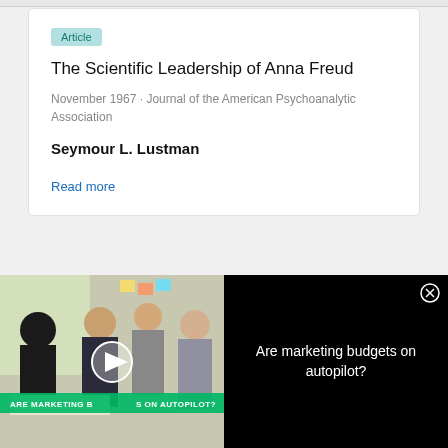Article
The Scientific Leadership of Anna Freud
November 1967 · Journal of the American Psychoanalytic Association
Seymour L. Lustman
Read more
[Figure (photo): Video thumbnail showing people in a meeting/workshop setting with text overlay 'ARE MARKETING BUDGETS ON AUTOPILOT?' and a play button]
Are marketing budgets on autopilot?
[Figure (photo): ThermoFisher Scientific advertisement with product image and text 'Gene editing for clinical cell therapy applications']
Gene editing for clinical cell therapy applications